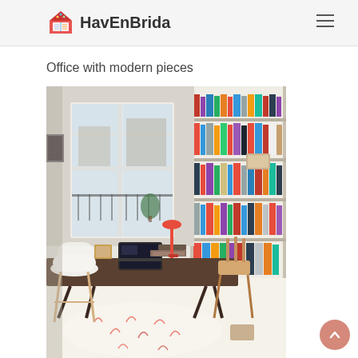HavEnBrida
Office with modern pieces
[Figure (photo): Interior photo of a modern home office with a large wooden desk, laptop, books, white Eames-style chair, wooden chair, floor-to-ceiling bookshelf filled with books and binders, French windows opening to a balcony, red desk lamp, and a decorative patterned rug.]